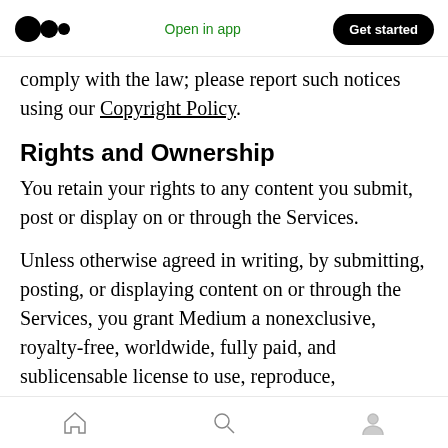Medium logo | Open in app | Get started
comply with the law; please report such notices using our Copyright Policy.
Rights and Ownership
You retain your rights to any content you submit, post or display on or through the Services.
Unless otherwise agreed in writing, by submitting, posting, or displaying content on or through the Services, you grant Medium a nonexclusive, royalty-free, worldwide, fully paid, and sublicensable license to use, reproduce,
Home | Search | Profile